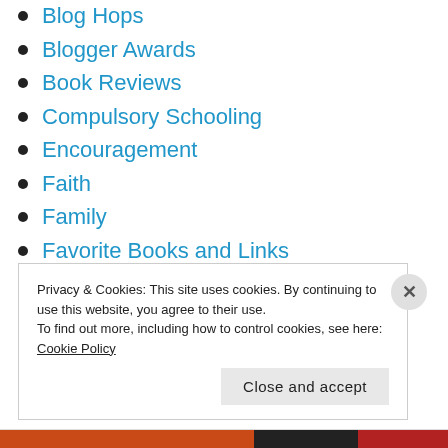Blog Hops
Blogger Awards
Book Reviews
Compulsory Schooling
Encouragement
Faith
Family
Favorite Books and Links
Free Unit Studies
Frugal Living
Grammar Helps
Privacy & Cookies: This site uses cookies. By continuing to use this website, you agree to their use.
To find out more, including how to control cookies, see here: Cookie Policy